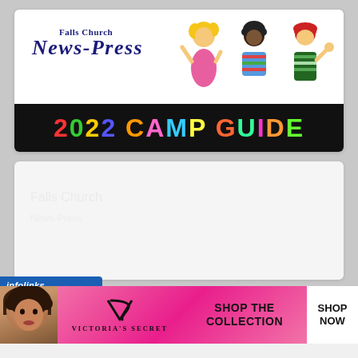[Figure (logo): Falls Church News-Press 2022 Camp Guide banner with logo, cartoon kids illustration, and colorful text on black bar]
[Figure (other): Blank/faded content area card]
infolinks
[Figure (photo): Victoria's Secret advertisement banner showing a model, VS logo, 'SHOP THE COLLECTION' text, and 'SHOP NOW' button]